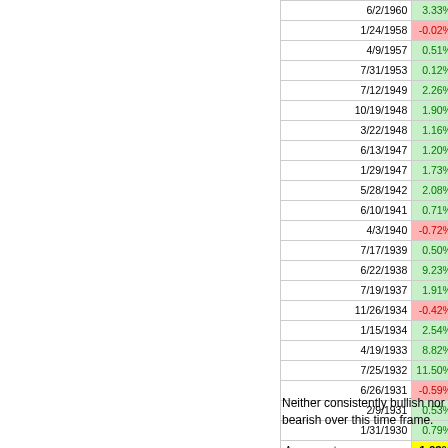| Date | Col2 | Col3 |
| --- | --- | --- |
| 6/2/1960 | 3.33% | 2.44% |
| 1/24/1958 | -0.02% | 0.05% |
| 4/9/1957 | 0.51% | 2.08% |
| 7/31/1953 | 0.12% | -0.53% |
| 7/12/1949 | 2.26% | 3.08% |
| 10/19/1948 | 1.90% | -2.15% |
| 3/22/1948 | 1.16% | 3.95% |
| 6/13/1947 | 1.20% | 0.93% |
| 1/29/1947 | 1.73% | 1.79% |
| 5/28/1942 | 2.08% | 2.32% |
| 6/10/1941 | 0.71% | 0.61% |
| 4/3/1940 | -0.72% | -2.25% |
| 7/17/1939 | 0.50% | -0.25% |
| 6/22/1938 | 9.23% | 12.67% |
| 7/19/1937 | 1.91% | 1.97% |
| 11/26/1934 | -0.42% | -3.68% |
| 1/15/1934 | 2.54% | 5.17% |
| 4/19/1933 | 8.82% | 17.79% |
| 7/25/1932 | 11.50% | 35.58% |
| 6/26/1931 | -0.59% | -4.69% |
| 2/9/1931 | 0.53% | 5.96% |
| 1/31/1930 | 0.79% | 2.06% |
| Average returns | 1.03% | 1.65% |
| % of cases that are positive | 67% | 65% |
Neither consistently bullish nor bearish over this time frame.
Gold is also overbought
It's not just the S&P that's overbought as well. As of last Friday, gold's R...